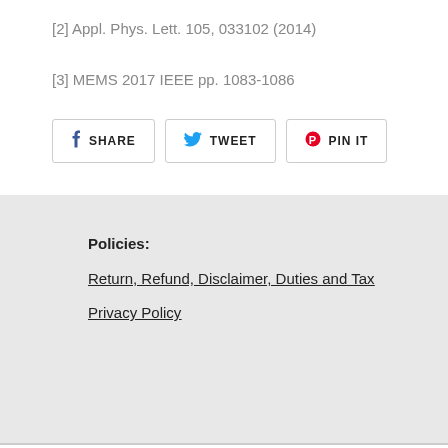[2] Appl. Phys. Lett. 105, 033102 (2014)
[3] MEMS 2017 IEEE pp. 1083-1086
[Figure (other): Social share buttons: Facebook SHARE, Twitter TWEET, Pinterest PIN IT]
Policies:
Return, Refund, Disclaimer, Duties and Tax
Privacy Policy